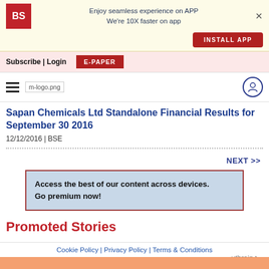Enjoy seamless experience on APP
We're 10X faster on app
INSTALL APP
Subscribe | Login  E-PAPER
[Figure (logo): Business Standard BS logo and navigation menu bar with m-logo.png and user icon]
Sapan Chemicals Ltd Standalone Financial Results for September 30 2016
12/12/2016 | BSE
NEXT >>
Access the best of our content across devices.
Go premium now!
Promoted Stories
Outbrain
Cookie Policy | Privacy Policy | Terms & Conditions